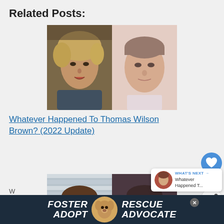Related Posts:
[Figure (photo): Side-by-side photos of Thomas Wilson Brown as a young man and as an adult]
Whatever Happened To Thomas Wilson Brown? (2022 Update)
[Figure (photo): Side-by-side photos of a female actress as a young woman and as an adult]
[Figure (infographic): Ad banner: FOSTER ADOPT RESCUE ADVOCATE with a dog photo]
[Figure (infographic): WHAT'S NEXT panel: Whatever Happened T...]